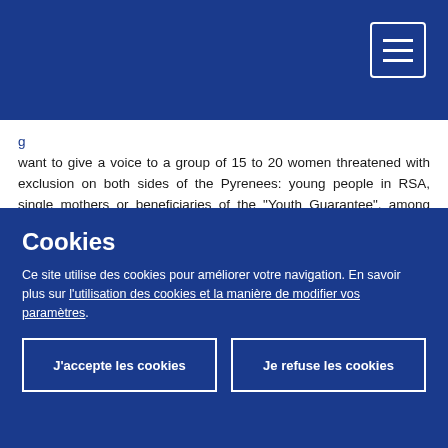[Figure (screenshot): Dark blue navigation bar with hamburger menu icon (three horizontal lines) in the top-right corner]
want to give a voice to a group of 15 to 20 women threatened with exclusion on both sides of the Pyrenees: young people in RSA, single mothers or beneficiaries of the "Youth Guarantee", among others. The exchange will be organised around several key questions: What has Europe done for these young women so far, how do they see their future on the European continent, what do they expect from the EU, what do they think is not working well, etc. The aim of these questions is to give this group of women a voice on the future of Europe and to support them so that they can become more involved in the construction of the European continent, a
Cookies
Ce site utilise des cookies pour améliorer votre navigation. En savoir plus sur l'utilisation des cookies et la manière de modifier vos paramètres.
J'accepte les cookies
Je refuse les cookies